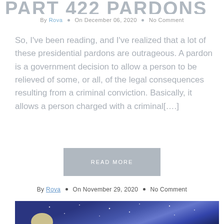PART 422 PARDONS
By Rova ■ On December 06, 2020 ■ No Comment
So, I've been reading, and I've realized that a lot of these presidential pardons are outrageous. A pardon is a government decision to allow a person to be relieved of some, or all, of the legal consequences resulting from a criminal conviction. Basically, it allows a person charged with a criminal[….]
READ MORE
By Rova ■ On November 29, 2020 ■ No Comment
[Figure (photo): Partial view of a painting showing a dark blue night sky with small white dots (stars) and what appears to be a moon or circular element at the bottom edge.]